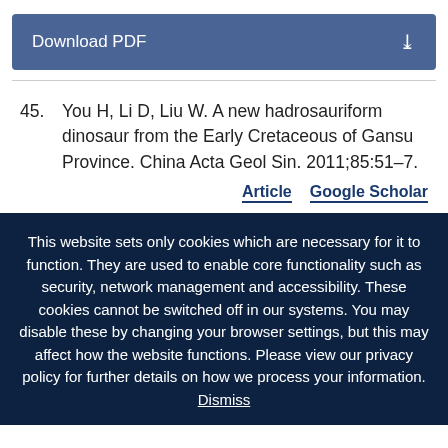Download PDF
45. You H, Li D, Liu W. A new hadrosauriform dinosaur from the Early Cretaceous of Gansu Province. China Acta Geol Sin. 2011;85:51–7.
Article   Google Scholar
This website sets only cookies which are necessary for it to function. They are used to enable core functionality such as security, network management and accessibility. These cookies cannot be switched off in our systems. You may disable these by changing your browser settings, but this may affect how the website functions. Please view our privacy policy for further details on how we process your information. Dismiss